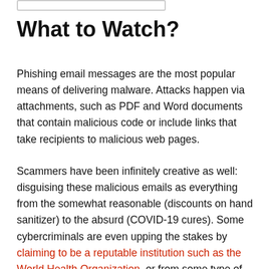What to Watch?
Phishing email messages are the most popular means of delivering malware. Attacks happen via attachments, such as PDF and Word documents that contain malicious code or include links that take recipients to malicious web pages.
Scammers have been infinitely creative as well: disguising these malicious emails as everything from the somewhat reasonable (discounts on hand sanitizer) to the absurd (COVID-19 cures). Some cybercriminals are even upping the stakes by claiming to be a reputable institution such as the World Health Organization, or from some type of health organization informing recipients that they